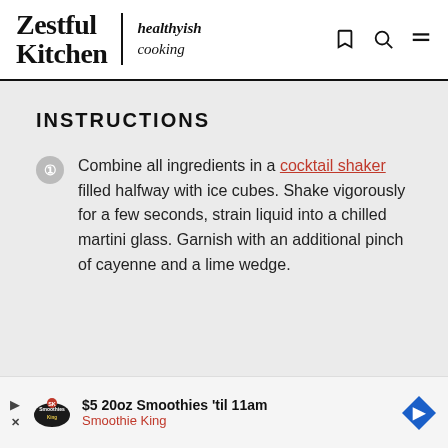Zestful Kitchen | healthyish cooking
INSTRUCTIONS
Combine all ingredients in a cocktail shaker filled halfway with ice cubes. Shake vigorously for a few seconds, strain liquid into a chilled martini glass. Garnish with an additional pinch of cayenne and a lime wedge.
$5 20oz Smoothies 'til 11am Smoothie King